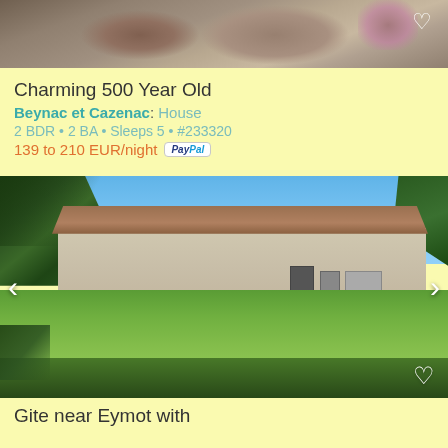[Figure (photo): Partial top view of rocky/stone cliff face with purple flowering plant, cropped at top of page]
Charming 500 Year Old
Beynac et Cazenac: House
2 BDR • 2 BA • Sleeps 5 • #233320
139 to 210 EUR/night  [PayPal]
[Figure (photo): Exterior photo of a traditional French stone farmhouse/gite with terracotta roof, swimming pool in front, surrounded by trees and a large lawn, photographed through tree branches on a sunny day]
Gite near Eymot with